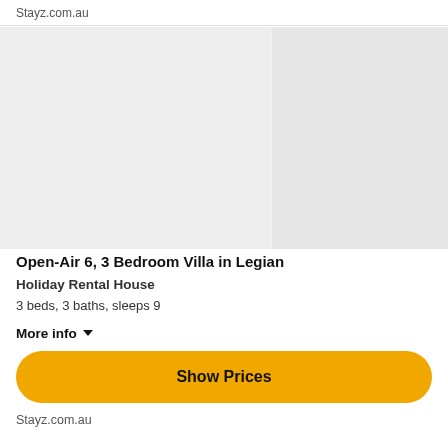Stayz.com.au
[Figure (photo): Property photo placeholder showing two panels of light grey background, simulating a holiday rental villa image from Stayz.com.au]
Open-Air 6, 3 Bedroom Villa in Legian
Holiday Rental House
3 beds, 3 baths, sleeps 9
More info ▼
Show Prices
Stayz.com.au